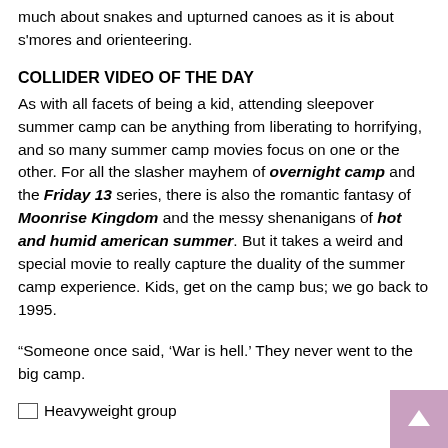much about snakes and upturned canoes as it is about s'mores and orienteering.
COLLIDER VIDEO OF THE DAY
As with all facets of being a kid, attending sleepover summer camp can be anything from liberating to horrifying, and so many summer camp movies focus on one or the other. For all the slasher mayhem of overnight camp and the Friday 13 series, there is also the romantic fantasy of Moonrise Kingdom and the messy shenanigans of hot and humid american summer. But it takes a weird and special movie to really capture the duality of the summer camp experience. Kids, get on the camp bus; we go back to 1995.
“Someone once said, ‘War is hell.’ They never went to the big camp.
[Figure (photo): Heavyweight group image placeholder]